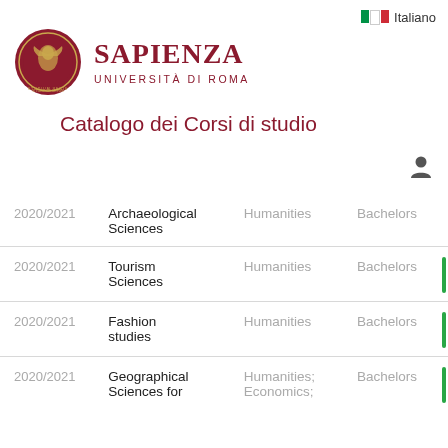[Figure (logo): Sapienza Università di Roma circular seal with eagle and text]
SAPIENZA
UNIVERSITÀ DI ROMA
Catalogo dei Corsi di studio
| Year | Course | Field | Type |
| --- | --- | --- | --- |
| 2020/2021 | Archaeological Sciences | Humanities | Bachelors |
| 2020/2021 | Tourism Sciences | Humanities | Bachelors |
| 2020/2021 | Fashion studies | Humanities | Bachelors |
| 2020/2021 | Geographical Sciences for... | Humanities; Economics; | Bachelors |